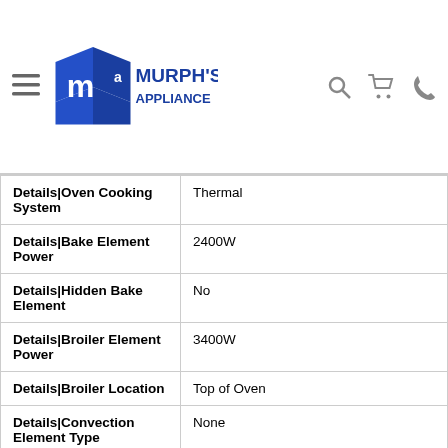Murph's Appliance
| Property | Value |
| --- | --- |
| Details|Oven Cooking System | Thermal |
| Details|Bake Element Power | 2400W |
| Details|Hidden Bake Element | No |
| Details|Broiler Element Power | 3400W |
| Details|Broiler Location | Top of Oven |
| Details|Convection Element Type | None |
| Details|Convection Functions | No |
| Details|Number of | 1 |